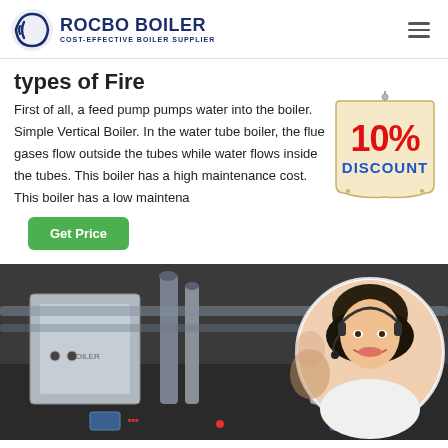ROCBO BOILER — COST-EFFECTIVE BOILER SUPPLIER
types of Fire
First of all, a feed pump pumps water into the boiler. Simple Vertical Boiler. In the water tube boiler, the flue gases flow outside the tubes while water flows inside the tubes. This boiler has a high maintenance cost. This boiler has a low maintena
[Figure (infographic): 10% DISCOUNT badge/tag in red and blue on a cream-colored hanging tag]
[Figure (photo): Industrial boiler room with pipes, cylinders and equipment; overlaid circular portrait of smiling woman with headset (customer service representative)]